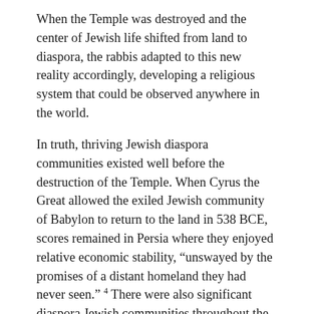When the Temple was destroyed and the center of Jewish life shifted from land to diaspora, the rabbis adapted to this new reality accordingly, developing a religious system that could be observed anywhere in the world.
In truth, thriving Jewish diaspora communities existed well before the destruction of the Temple. When Cyrus the Great allowed the exiled Jewish community of Babylon to return to the land in 538 BCE, scores remained in Persia where they enjoyed relative economic stability, “unswayed by the promises of a distant homeland they had never seen.” 4 There were also significant diaspora Jewish communities throughout the Hellenistic world. Between the third century BCE and the end of the first century CE, Alexandria, Egypt became one of the most populous Jewish communities in the world, numbering at least several hundred thousand.
Judaism’s foundational Jewish text – the Talmud – was itself composed and compiled in Babylonia. In a similar way, the